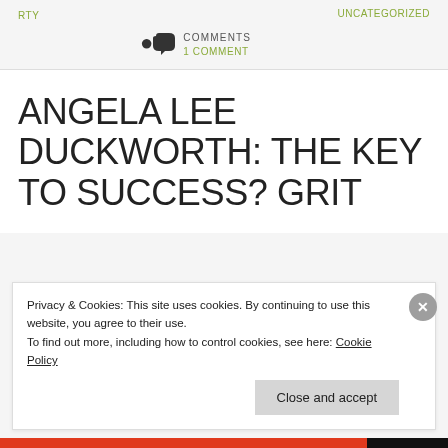RTY    UNCATEGORIZED
COMMENTS
1 COMMENT
ANGELA LEE DUCKWORTH: THE KEY TO SUCCESS? GRIT
Privacy & Cookies: This site uses cookies. By continuing to use this website, you agree to their use.
To find out more, including how to control cookies, see here: Cookie Policy
Close and accept